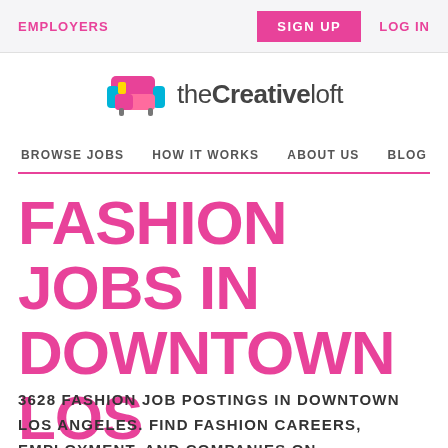EMPLOYERS | SIGN UP | LOG IN
[Figure (logo): theCreativeloft logo with colorful couch icon]
BROWSE JOBS  HOW IT WORKS  ABOUT US  BLOG
FASHION JOBS IN DOWNTOWN LOS ANGELES
3628 FASHION JOB POSTINGS IN DOWNTOWN LOS ANGELES. FIND FASHION CAREERS, EMPLOYMENT, AND COMPANIES ON THE CREATIVE LOFT. THE LAST